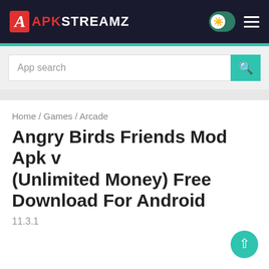APKSTREAMZ
App search
Home / Games / Arcade
Angry Birds Friends Mod Apk v (Unlimited Money) Free Download For Android
11.3.1